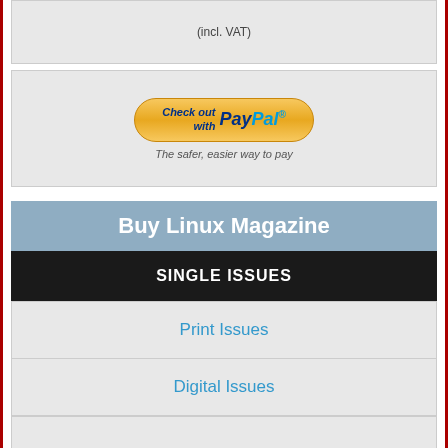(incl. VAT)
[Figure (other): PayPal checkout button with tagline 'The safer, easier way to pay']
Buy Linux Magazine
SINGLE ISSUES
Print Issues
Digital Issues
SUBSCRIPTIONS